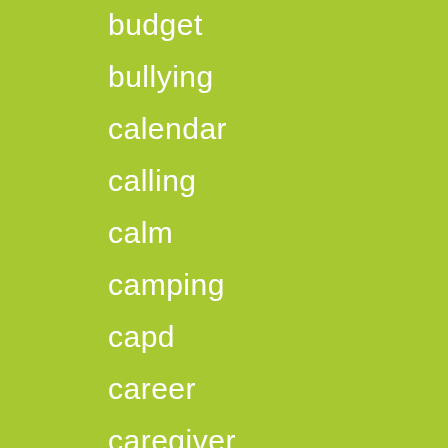budget
bullying
calendar
calling
calm
camping
capd
career
caregiver